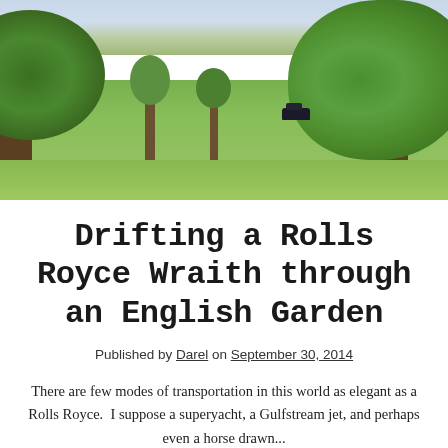[Figure (photo): Landscape photo of a green English garden/parkland with large trees on left and right, smaller trees in the background, open grass field, and a dark car visible in the middle distance. Overcast sky above.]
Drifting a Rolls Royce Wraith through an English Garden
Published by Darel on September 30, 2014
There are few modes of transportation in this world as elegant as a Rolls Royce.  I suppose a superyacht, a Gulfstream jet, and perhaps even a horse drawn...